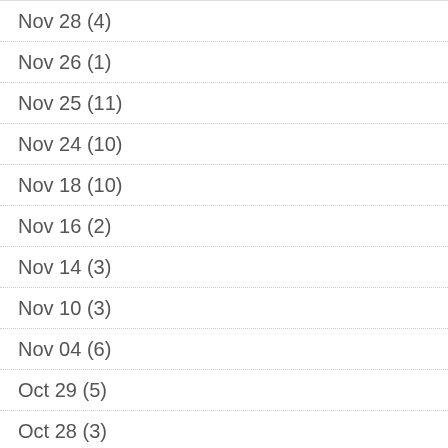Nov 28 (4)
Nov 26 (1)
Nov 25 (11)
Nov 24 (10)
Nov 18 (10)
Nov 16 (2)
Nov 14 (3)
Nov 10 (3)
Nov 04 (6)
Oct 29 (5)
Oct 28 (3)
Oct 27 (5)
Oct 22 (4)
Oct 19 (7)
Oct 18 (12)
Oct 13 (1)
Oct 12 (10)
Sep 30 (8)
Sep 28 (6)
Sep 25 (8)